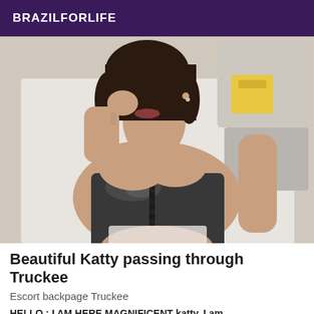BRAZILFORLIFE
[Figure (photo): Woman lying down wearing a shiny dark latex corset top, viewed from above, with bags/packaging visible in the background.]
Beautiful Katty passing through Truckee
Escort backpage Truckee
HELLO : I AM HERE MAGNIFICENT katty, I am